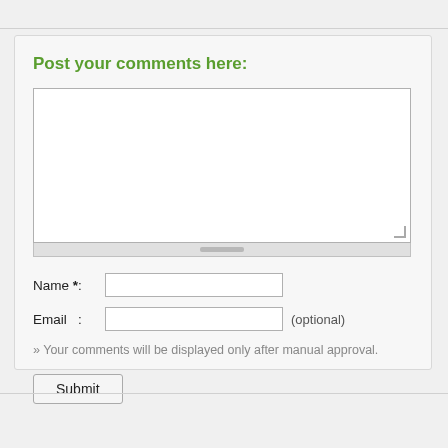Post your comments here:
[Figure (screenshot): Comment textarea input box with scroll handle at bottom]
Name *:
Email   : (optional)
» Your comments will be displayed only after manual approval.
Submit